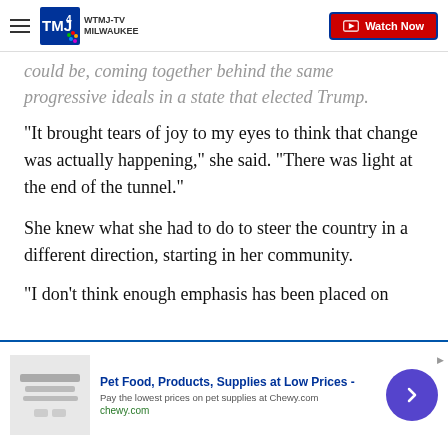WTMJ-TV Milwaukee | Watch Now
could be, coming together behind the same progressive ideals in a state that elected Trump.
"It brought tears of joy to my eyes to think that change was actually happening," she said. "There was light at the end of the tunnel."
She knew what she had to do to steer the country in a different direction, starting in her community.
"I don't think enough emphasis has been placed on
[Figure (infographic): Advertisement banner for Chewy.com - Pet Food, Products, Supplies at Low Prices. Pay the lowest prices on pet supplies at Chewy.com. chewy.com. With navigation arrow button.]